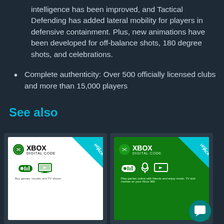intelligence has been improved, and Tactical Defending has added lateral mobility for players in defensive containment. Plus, new animations have been developed for off-balance shots, 180 degree shots, and celebrations.
Complete authenticity: Over 500 officially licensed clubs and more than 15,000 players
See also
[Figure (illustration): Two Xbox Digital Code product cards side by side, both with HOT PICK banners in teal/cyan. The left card has a white background showing Xbox logo, controller and screen icons, and 'Buy games, movies and TV shows.' The right card has a green background showing Xbox logo, controller, headphones, and screen icons, and 'Play games online with friends and enjoy music, TV and movies on your Xbox 360.']